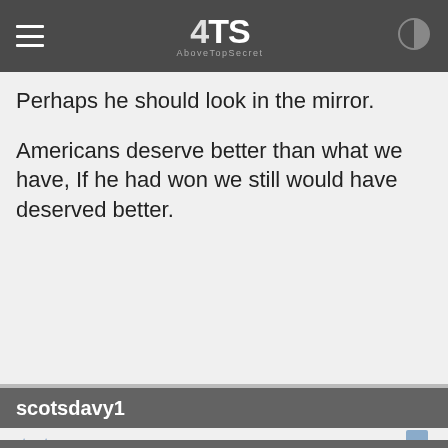[Figure (screenshot): AboveTopSecret (4TS) navigation bar with hamburger menu, logo, and contrast toggle]
Perhaps he should look in the mirror.

Americans deserve better than what we have, If he had won we still would have deserved better.
scotsdavy1
posted on Sep, 19 2013 @ 01:45 PM
And his own great dictator is perfect in every way? What an idiot to even say that when his own leader is a warmonger and would have been only fit to spend time in Russia's salt mines !
crazyewok